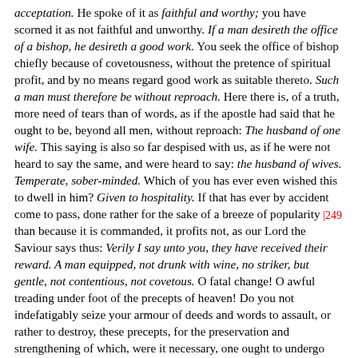acceptation. He spoke of it as faithful and worthy; you have scorned it as not faithful and unworthy. If a man desireth the office of a bishop, he desireth a good work. You seek the office of bishop chiefly because of covetousness, without the pretence of spiritual profit, and by no means regard good work as suitable thereto. Such a man must therefore be without reproach. Here there is, of a truth, more need of tears than of words, as if the apostle had said that he ought to be, beyond all men, without reproach: The husband of one wife. This saying is also so far despised with us, as if he were not heard to say the same, and were heard to say: the husband of wives. Temperate, sober-minded. Which of you has ever even wished this to dwell in him? Given to hospitality. If that has ever by accident come to pass, done rather for the sake of a breeze of popularity [249] than because it is commanded, it profits not, as our Lord the Saviour says thus: Verily I say unto you, they have received their reward. A man equipped, not drunk with wine, no striker, but gentle, not contentious, not covetous. O fatal change! O awful treading under foot of the precepts of heaven! Do you not indefatigably seize your armour of deeds and words to assault, or rather to destroy, these precepts, for the preservation and strengthening of which, were it necessary, one ought to undergo suffering, and lay down one's life?
109. But let us also see the following words: Ruling his own house well, having his children in subjection with all chastity. The